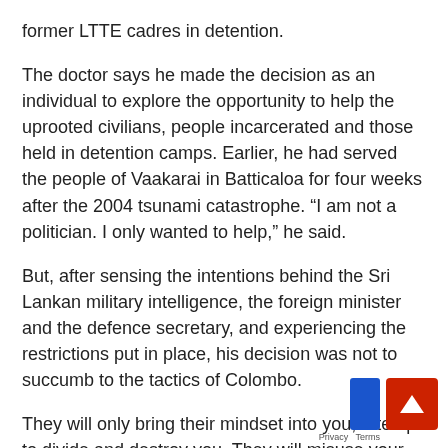former LTTE cadres in detention.
The doctor says he made the decision as an individual to explore the opportunity to help the uprooted civilians, people incarcerated and those held in detention camps. Earlier, he had served the people of Vaakarai in Batticaloa for four weeks after the 2004 tsunami catastrophe. “I am not a politician. I only wanted to help,” he said.
But, after sensing the intentions behind the Sri Lankan military intelligence, the foreign minister and the defence secretary, and experiencing the restrictions put in place, his decision was not to succumb to the tactics of Colombo.
They will only bring their mindset into you, attempt to divide and destroy you. They will misuse your intentions for their advantage, especially in convincing the West that the Tamil diaspora is now cooperating with them, the doctor said.
KP told the diaspora visitors that one should be satisfied what is being offered and should be after the civilians and...